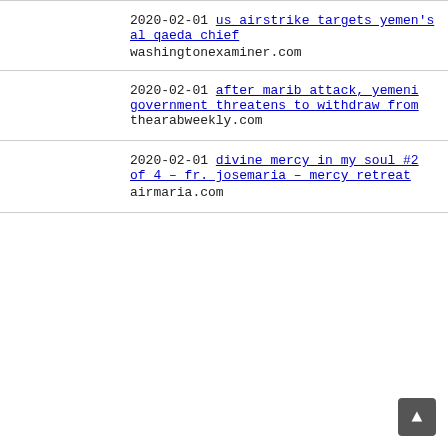2020-02-01 us airstrike targets yemen's al qaeda chief washingtonexaminer.com
2020-02-01 after marib attack, yemeni government threatens to withdraw from thearabweekly.com
2020-02-01 divine mercy in my soul #2 of 4 – fr. josemaria – mercy retreat airmaria.com